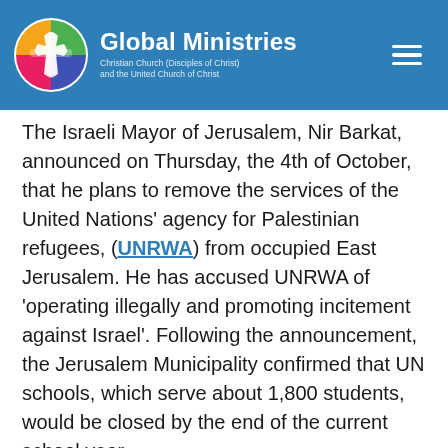Global Ministries — Christian Church (Disciples of Christ) and the United Church of Christ
The Israeli Mayor of Jerusalem, Nir Barkat, announced on Thursday, the 4th of October, that he plans to remove the services of the United Nations' agency for Palestinian refugees, (UNRWA) from occupied East Jerusalem. He has accused UNRWA of 'operating illegally and promoting incitement against Israel'. Following the announcement, the Jerusalem Municipality confirmed that UN schools, which serve about 1,800 students, would be closed by the end of the current school year.